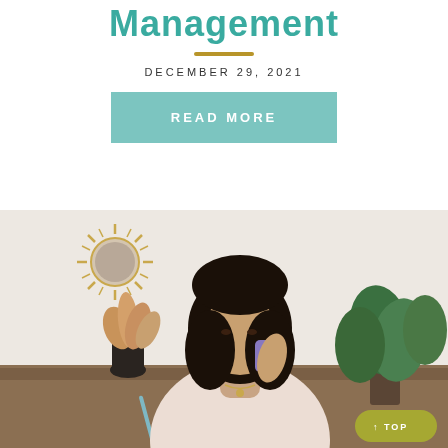Management
DECEMBER 29, 2021
READ MORE
[Figure (photo): Woman with dark hair talking on a phone while writing at a desk, with plants and gold wall decor in the background. A yellow-green 'TOP' button is visible in the bottom right corner.]